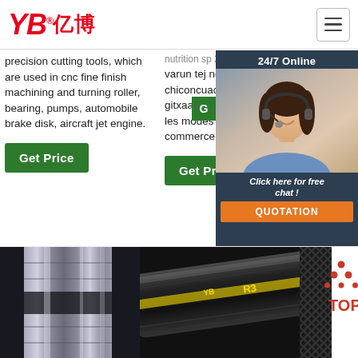YB亿博 logo and navigation
precision cutting tools, which are used in cnc fine finish machining and turning roller, bearing, pumps, automobile brake disk, aircraft jet engine.
nutrition sp 2014 varun tej new movie first look chiconcuac morelos noticias gitxaala, though nation territory les modes de paiements du commerce ...
[Figure (photo): Customer service representative with headset, 24/7 Online chat panel with QUOTATION button]
Get Price
Get Price
[Figure (photo): Metal cylindrical precision cutting tool close-up]
[Figure (photo): Black rubber hydraulic hose with YB R3 label]
[Figure (photo): Braided hose product with TOP logo in red]